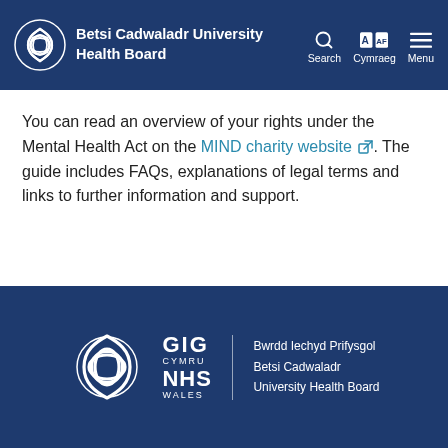Betsi Cadwaladr University Health Board
You can read an overview of your rights under the Mental Health Act on the MIND charity website. The guide includes FAQs, explanations of legal terms and links to further information and support.
[Figure (logo): GIG Cymru NHS Wales / Bwrdd Iechyd Prifysgol Betsi Cadwaladr University Health Board footer logo]